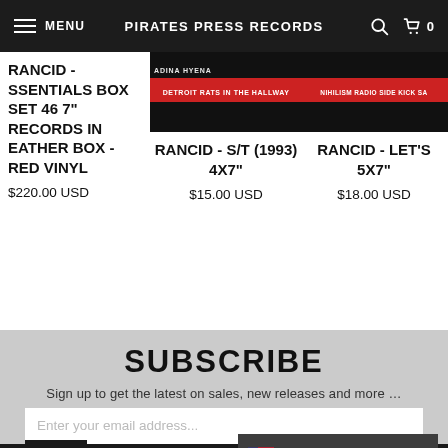MENU   PIRATES PRESS RECORDS   0
RANCID - SSENTIALS BOX SET 46 7" RECORDS IN EATHER BOX - RED VINYL
$220.00 USD
[Figure (photo): Product image of Rancid record - RANCID - S/T (1993) 4X7"]
RANCID - S/T (1993) 4X7"
$15.00 USD
[Figure (photo): Product image of Rancid record - RANCID - LET'S 5X7"]
RANCID - LET'S 5X7"
$18.00 USD
SUBSCRIBE
Sign up to get the latest on sales, new releases and more …
Enter your email address...
SIGN U
English